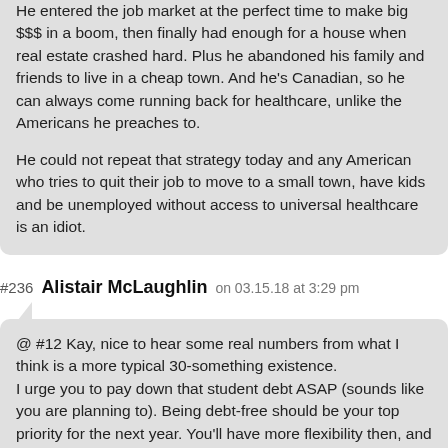He entered the job market at the perfect time to make big $$$ in a boom, then finally had enough for a house when real estate crashed hard. Plus he abandoned his family and friends to live in a cheap town. And he's Canadian, so he can always come running back for healthcare, unlike the Americans he preaches to.

He could not repeat that strategy today and any American who tries to quit their job to move to a small town, have kids and be unemployed without access to universal healthcare is an idiot.
#236 Alistair McLaughlin on 03.15.18 at 3:29 pm
@ #12 Kay, nice to hear some real numbers from what I think is a more typical 30-something existence.
I urge you to pay down that student debt ASAP (sounds like you are planning to). Being debt-free should be your top priority for the next year. You'll have more flexibility then, and you'll never want to be in debt again. Just one more winter of 14C and cold sandwiches. Don't take your eye off the ball now.

Oh, and tell your parents to get stuffed. You finally get your first real job and their reaction is to ask you for help paying for their car???